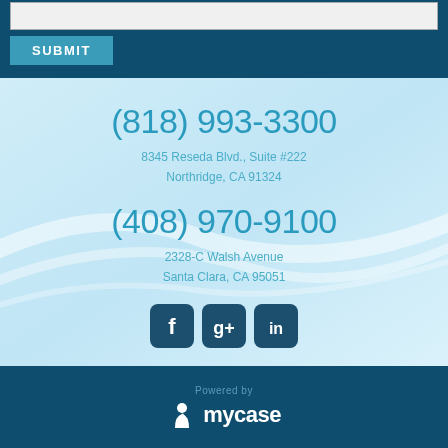[Figure (screenshot): Textarea input field at top of form]
[Figure (screenshot): Submit button, teal/blue color with white text SUBMIT]
(818) 993-3300
8345 Reseda Blvd., Suite #222
Northridge, CA 91324
(408) 970-9100
2328-C Walsh Avenue
Santa Clara, CA 95051
[Figure (logo): Social media icons: Facebook, Google+, LinkedIn]
Powered by
[Figure (logo): MyCasе logo with runner icon]